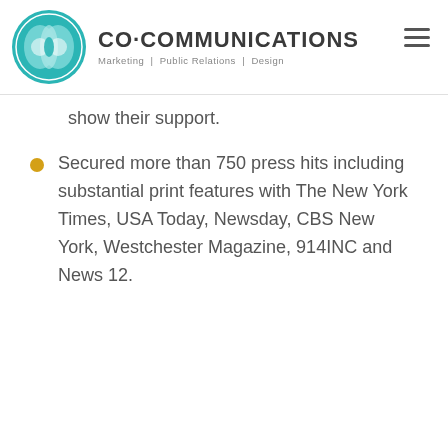[Figure (logo): Co-Communications logo with teal circular icon and text 'CO·COMMUNICATIONS Marketing | Public Relations | Design']
show their support.
Secured more than 750 press hits including substantial print features with The New York Times, USA Today, Newsday, CBS New York, Westchester Magazine, 914INC and News 12.